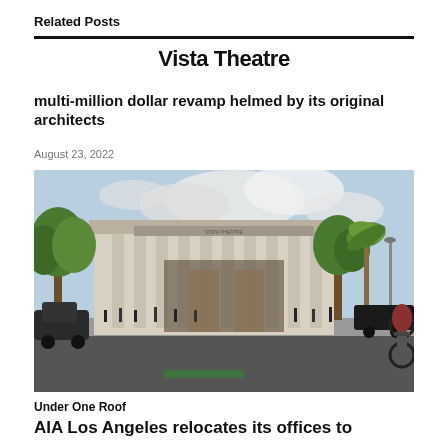Related Posts
Vista Theatre
multi-million dollar revamp helmed by its original architects
August 23, 2022
[Figure (photo): Architectural rendering of Vista Theatre exterior showing a neoclassical building facade with tall columns, surrounded by trees and pedestrians on the street, with a cyclist in the foreground.]
Under One Roof
AIA Los Angeles relocates its offices to